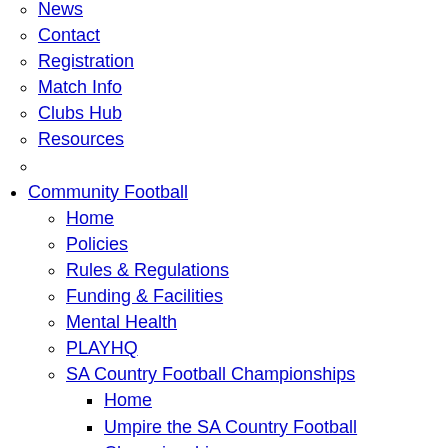News
Contact
Registration
Match Info
Clubs Hub
Resources
(empty circle)
Community Football
Home
Policies
Rules & Regulations
Funding & Facilities
Mental Health
PLAYHQ
SA Country Football Championships
Home
Umpire the SA Country Football Championships
Resources
Leagues
News
Contact
(empty circle)
History
Home
News